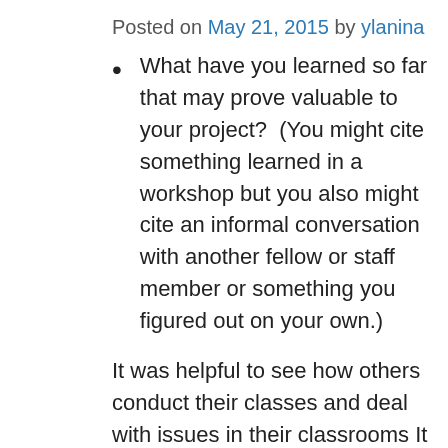Posted on May 21, 2015 by ylanina
What have you learned so far that may prove valuable to your project?  (You might cite something learned in a workshop but you also might cite an informal conversation with another fellow or staff member or something you figured out on your own.)
It was helpful to see how others conduct their classes and deal with issues in their classrooms It was good to be exposed to various ways technology is used in the classroom and to reflect on it
What progress have you made on your project?